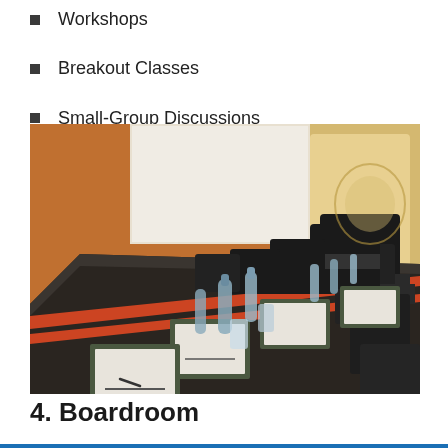Workshops
Breakout Classes
Small-Group Discussions
[Figure (photo): A boardroom meeting setup with a long dark conference table, black ergonomic chairs, notepads, water bottles and glasses arranged along the table, with warm orange/brown walls and decorative paneling in the background.]
4. Boardroom